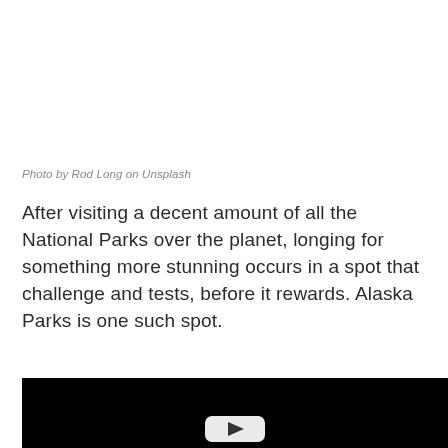Photo by Rod Long on Unsplash
After visiting a decent amount of all the National Parks over the planet, longing for something more stunning occurs in a spot that challenge and tests, before it rewards. Alaska Parks is one such spot.
[Figure (screenshot): Black video player thumbnail with a white rounded-rectangle play button visible at the bottom center]